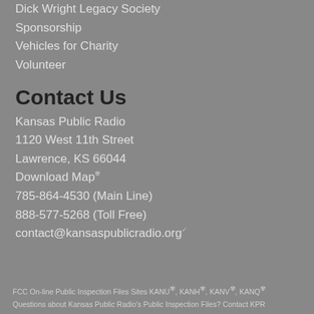Dick Wright Legacy Society
Sponsorship
Vehicles for Charity
Volunteer
Contact Us
Kansas Public Radio
1120 West 11th Street
Lawrence, KS 66044
Download Map
785-864-4530 (Main Line)
888-577-5268 (Toll Free)
contact@kansaspublicradio.org
FCC On-line Public Inspection Files Sites KANU, KANH, KANV, KANQ
Questions about Kansas Public Radio's Public Inspection Files? Contact KPR